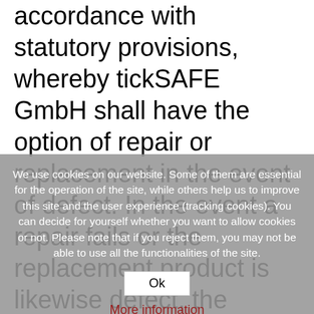accordance with statutory provisions, whereby tickSAFE GmbH shall have the option of repair or replacement in the event of defect. In the event a repair fails or the replacement product is likewise defect, the customer can return the
We use cookies on our website. Some of them are essential for the operation of the site, while others help us to improve this site and the user experience (tracking cookies). You can decide for yourself whether you want to allow cookies or not. Please note that if you reject them, you may not be able to use all the functionalities of the site.
Ok
More information